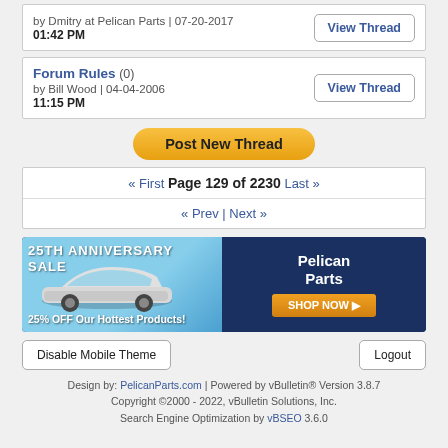by Dmitry at Pelican Parts | 07-20-2017
01:42 PM
Forum Rules (0)
by Bill Wood | 04-04-2006
11:15 PM
Post New Thread
« First Page 129 of 2230 Last »
« Prev | Next »
[Figure (other): Pelican Parts 25th Anniversary Sale advertisement banner showing a silver sports car on the left with text '25TH ANNIVERSARY SALE' and '25% OFF Our Hottest Products!', and on the right a dark blue panel with Pelican Parts logo, mascot, and 'SHOP NOW' button]
Disable Mobile Theme
Logout
Design by: PelicanParts.com | Powered by vBulletin® Version 3.8.7
Copyright ©2000 - 2022, vBulletin Solutions, Inc.
Search Engine Optimization by vBSEO 3.6.0